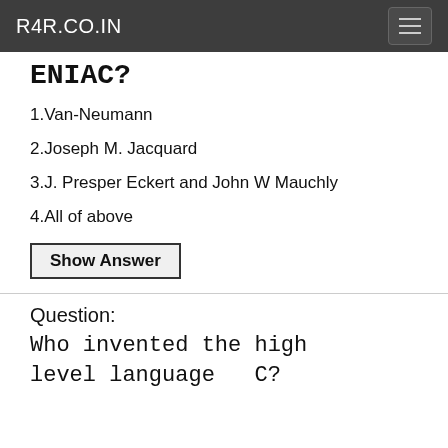R4R.CO.IN
ENIAC?
1.Van-Neumann
2.Joseph M. Jacquard
3.J. Presper Eckert and John W Mauchly
4.All of above
Show Answer
Question: Who invented the high level language  C?